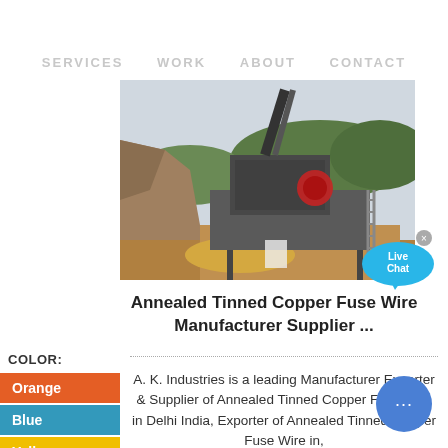SERVICES   WORK   ABOUT   CONTACT
[Figure (photo): Mining or quarry site with heavy industrial crusher machinery, excavated rocky terrain, and forested hills in background]
Annealed Tinned Copper Fuse Wire Manufacturer Supplier ...
COLOR:
Orange
Blue
Yellow
A. K. Industries is a leading Manufacturer Exporter & Supplier of Annealed Tinned Copper Fuse Wire in Delhi India, Exporter of Annealed Tinned Copper Fuse Wire in,